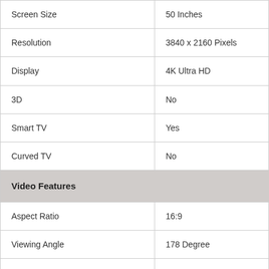| Attribute | Value |
| --- | --- |
| Screen Size | 50 Inches |
| Resolution | 3840 x 2160 Pixels |
| Display | 4K Ultra HD |
| 3D | No |
| Smart TV | Yes |
| Curved TV | No |
| Video Features |  |
| Aspect Ratio | 16:9 |
| Viewing Angle | 178 Degree |
| Picture Engine | CEVO 4K HDR |
| Other Video Features | Dolby Vision HDR, CEVO 4K HDR, U |